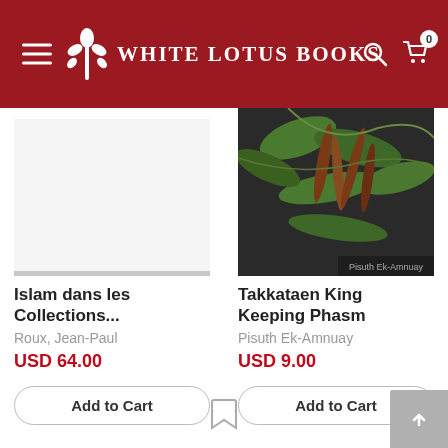White Lotus Books
[Figure (photo): Book cover image area for 'Islam dans les Collections' - appears blank/white with a grey bottom bar]
Islam dans les Collections...
Roux, Jean-Paul
USD 64.00
Add to Cart
[Figure (photo): Book cover photo showing dried seed pods or plant material hanging against dark background, for 'Takkataen King Keeping Phasm']
Takkataen King Keeping Phasm
Pisuth Ek-Amnuay
USD 9.00
Add to Cart